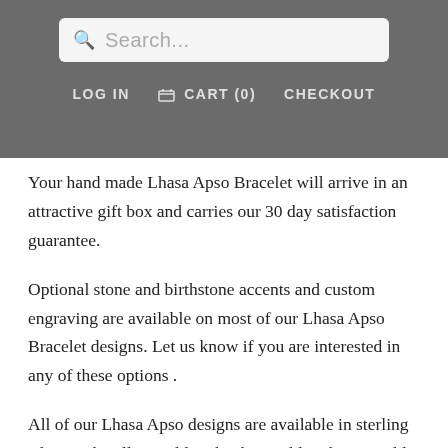Search... LOG IN  CART (0)  CHECKOUT
Your hand made Lhasa Apso Bracelet will arrive in an attractive gift box and carries our 30 day satisfaction guarantee.
Optional stone and birthstone accents and custom engraving are available on most of our Lhasa Apso Bracelet designs. Let us know if you are interested in any of these options .
All of our Lhasa Apso designs are available in sterling silver, 14k yellow gold, 14k white gold, 14k rose gold, 18k yellow gold and 14k gold vermeil. If you are interested in having your Lhasa Apso Bracelet cast in any of these metals please contact us for